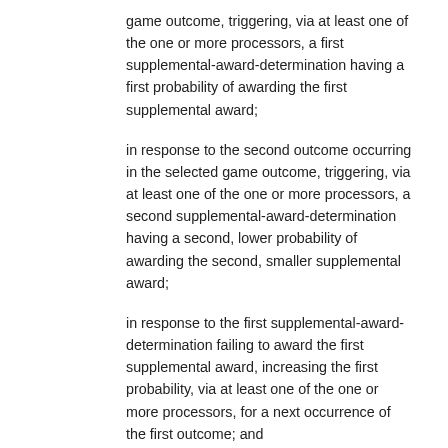game outcome, triggering, via at least one of the one or more processors, a first supplemental-award-determination having a first probability of awarding the first supplemental award;
in response to the second outcome occurring in the selected game outcome, triggering, via at least one of the one or more processors, a second supplemental-award-determination having a second, lower probability of awarding the second, smaller supplemental award;
in response to the first supplemental-award-determination failing to award the first supplemental award, increasing the first probability, via at least one of the one or more processors, for a next occurrence of the first outcome; and
in response to the second supplemental-award-determination failing to award the second supplemental award, increasing the second probability, via at least one of the one or more processors, for a next occurrence of the second outcome.
9. The computer-implemented method of claim 8, wherein the first supplemental-award-determination must award the first supplemental award within a predetermined maximum number of occurrences of the first outcome